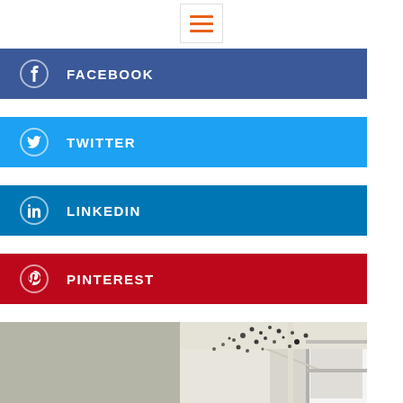[Figure (other): Hamburger menu icon with three orange horizontal lines inside a white box with light border]
FACEBOOK
TWITTER
LINKEDIN
PINTEREST
[Figure (photo): Close-up photo of black mold growing in the corner near a window frame, on a white wall/ceiling]